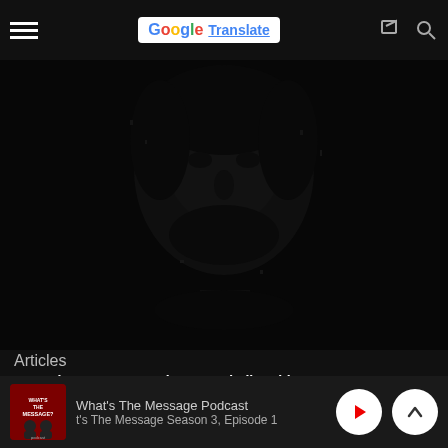[Figure (screenshot): Navigation bar with hamburger menu, Google Translate button, and icons]
[Figure (photo): Dark moody portrait of a face, heavily shadowed, appears to be religious imagery]
Articles
From the Message Vault: “Is God Lily White?”
[Figure (photo): Holy Bible with MESSAGE text overlaid, book cover photo]
What's The Message Podcast
t's The Message Season 3, Episode 1